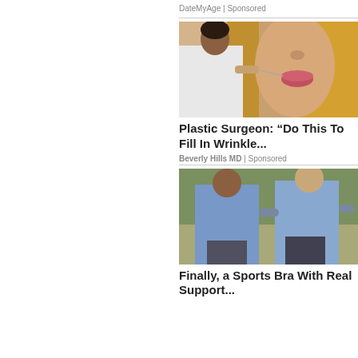DateMyAge | Sponsored
[Figure (photo): A plastic surgeon examining a woman's face near her lips]
Plastic Surgeon: “Do This To Fill In Wrinkle...
Beverly Hills MD | Sponsored
[Figure (photo): Two women running outdoors wearing sports bras]
Finally, a Sports Bra With Real Support...